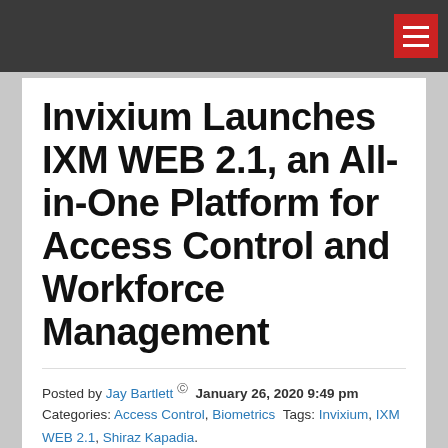Invixium Launches IXM WEB 2.1, an All-in-One Platform for Access Control and Workforce Management
Posted by Jay Bartlett  January 26, 2020 9:49 pm
Categories: Access Control, Biometrics Tags: Invixium, IXM WEB 2.1, Shiraz Kapadia.